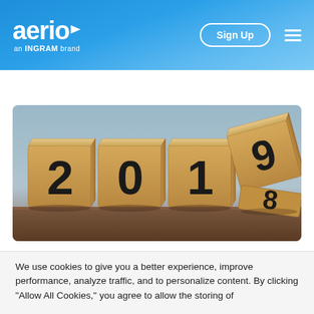aerio — an INGRAM brand | Sign Up
[Figure (photo): Wooden cubes showing year change from 2018 to 2019, with the last cube flipping from 8 to 9]
We use cookies to give you a better experience, improve performance, analyze traffic, and to personalize content. By clicking "Allow All Cookies," you agree to allow the storing of